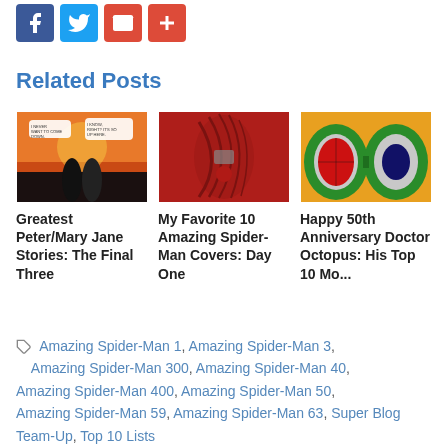[Figure (other): Social share buttons: Facebook, Twitter, Mail, Plus]
Related Posts
[Figure (photo): Comic book image - Peter/Mary Jane sunset silhouette scene]
Greatest Peter/Mary Jane Stories: The Final Three
[Figure (photo): Comic book image - Amazing Spider-Man red cover close-up]
My Favorite 10 Amazing Spider-Man Covers: Day One
[Figure (photo): Comic book image - Doctor Octopus green and Spider-Man]
Happy 50th Anniversary Doctor Octopus: His Top 10 Mo...
Amazing Spider-Man 1, Amazing Spider-Man 3, Amazing Spider-Man 300, Amazing Spider-Man 40, Amazing Spider-Man 400, Amazing Spider-Man 50, Amazing Spider-Man 59, Amazing Spider-Man 63, Super Blog Team-Up, Top 10 Lists